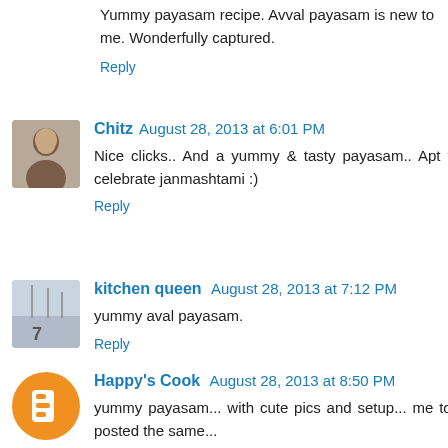Yummy payasam recipe. Avval payasam is new to me. Wonderfully captured.
Reply
Chitz August 28, 2013 at 6:01 PM
Nice clicks.. And a yummy & tasty payasam.. Apt to celebrate janmashtami :)
Reply
kitchen queen August 28, 2013 at 7:12 PM
yummy aval payasam.
Reply
Happy's Cook August 28, 2013 at 8:50 PM
yummy payasam... with cute pics and setup... me too posted the same...
Reply